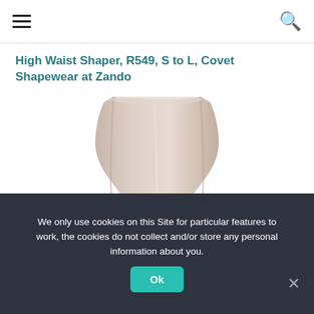☰  [menu icon]  [search icon]
High Waist Shaper, R549, S to L, Covet Shapewear at Zando
[Figure (photo): A beige/nude high waist shapewear garment shown on a mannequin torso, viewed from the front, with a strapless tube-top design, against a white background.]
We only use cookies on this Site for particular features to work, the cookies do not collect and/or store any personal information about you.